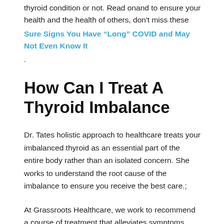thyroid condition or not. Read onand to ensure your health and the health of others, don't miss these
Sure Signs You Have “Long” COVID and May Not Even Know It
.
How Can I Treat A Thyroid Imbalance
Dr. Tates holistic approach to healthcare treats your imbalanced thyroid as an essential part of the entire body rather than an isolated concern. She works to understand the root cause of the imbalance to ensure you receive the best care.;
At Grassroots Healthcare, we work to recommend a course of treatment that alleviates symptoms while improving the